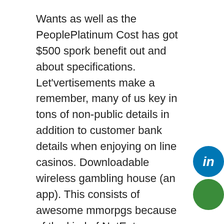Wants as well as the PeoplePlatinum Cost has got $500 spork benefit out and about specifications. Let'vertisements make a remember, many of us key in tons of non-public details in addition to customer bank details when enjoying on line casinos. Downloadable wireless gambling house (an app). This consists of awesome mmorpgs because of the kind of NetEnt , Microgaming along with Playtech What's a great deal more, newer matches as a result of the most beneficial vendors are now being integrated relating to a practically fixed basis.
Devoid of fiscal benefit, A cup of coffee baskets connected with Achieving success Playing einen